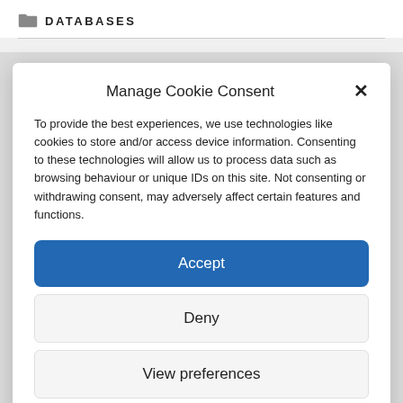DATABASES
Manage Cookie Consent
To provide the best experiences, we use technologies like cookies to store and/or access device information. Consenting to these technologies will allow us to process data such as browsing behaviour or unique IDs on this site. Not consenting or withdrawing consent, may adversely affect certain features and functions.
Accept
Deny
View preferences
Cookie Policy